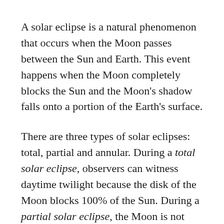A solar eclipse is a natural phenomenon that occurs when the Moon passes between the Sun and Earth. This event happens when the Moon completely blocks the Sun and the Moon's shadow falls onto a portion of the Earth's surface.
There are three types of solar eclipses: total, partial and annular. During a total solar eclipse, observers can witness daytime twilight because the disk of the Moon blocks 100% of the Sun. During a partial solar eclipse, the Moon is not entirely covering the Sun and you will likely not notice any difference in light intensity. You may only notice a subtle difference if the